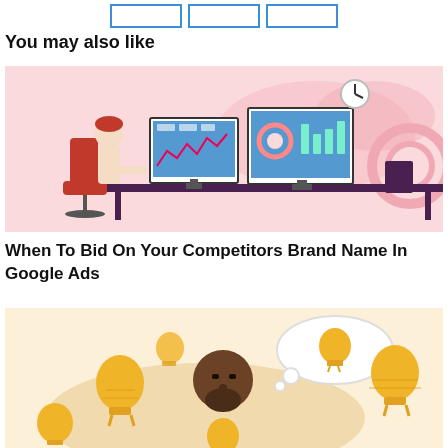You may also like
[Figure (illustration): Illustration of a person sitting at a desk with two computer monitors showing analytics dashboards, on a pink background with gear and cloud shapes]
When To Bid On Your Competitors Brand Name In Google Ads
[Figure (illustration): Illustration of a bearded man with multiple yellow light bulbs around him on a warm beige/cream background, representing ideas]